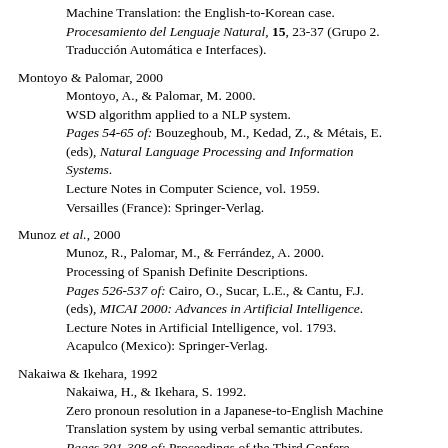Machine Translation: the English-to-Korean case. Procesamiento del Lenguaje Natural, 15, 23-37 (Grupo 2. Traducción Automática e Interfaces).
Montoyo & Palomar, 2000
Montoyo, A., & Palomar, M. 2000.
WSD algorithm applied to a NLP system.
Pages 54-65 of: Bouzeghoub, M., Kedad, Z., & Métais, E. (eds), Natural Language Processing and Information Systems.
Lecture Notes in Computer Science, vol. 1959.
Versailles (France): Springer-Verlag.
Munoz et al., 2000
Munoz, R., Palomar, M., & Ferrández, A. 2000.
Processing of Spanish Definite Descriptions.
Pages 526-537 of: Cairo, O., Sucar, L.E., & Cantu, F.J. (eds), MICAI 2000: Advances in Artificial Intelligence.
Lecture Notes in Artificial Intelligence, vol. 1793.
Acapulco (Mexico): Springer-Verlag.
Nakaiwa & Ikehara, 1992
Nakaiwa, H., & Ikehara, S. 1992.
Zero pronoun resolution in a Japanese-to-English Machine Translation system by using verbal semantic attributes.
Pages 301-308 of: Proceedings of the Third Conference...